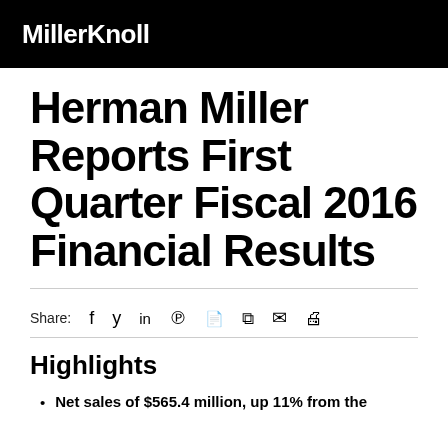MillerKnoll
Herman Miller Reports First Quarter Fiscal 2016 Financial Results
Share: f  in  PDF  RSS  email  print
Highlights
Net sales of $565.4 million, up 11% from the